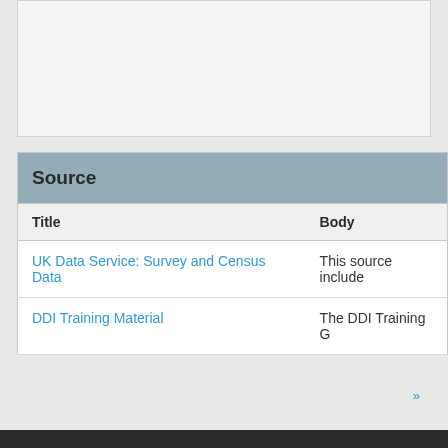| Source |  |
| --- | --- |
| Title | Body |
| UK Data Service: Survey and Census Data | This source include |
| DDI Training Material | The DDI Training G |
»